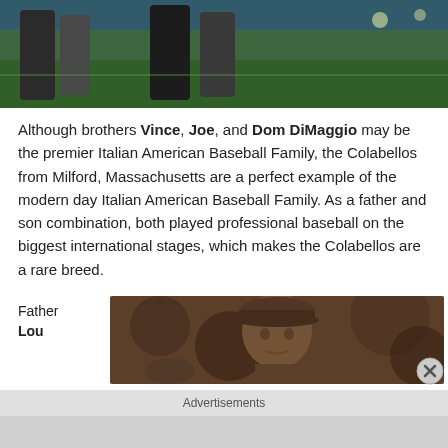[Figure (photo): Baseball players on a field, stadium background visible, top portion of article image]
Although brothers Vince, Joe, and Dom DiMaggio may be the premier Italian American Baseball Family, the Colabellos from Milford, Massachusetts are a perfect example of the modern day Italian American Baseball Family. As a father and son combination, both played professional baseball on the biggest international stages, which makes the Colabellos are a rare breed.
Father
Lou
[Figure (photo): Sepia-toned photo of a baseball player wearing a cap, close-up portrait]
Advertisements